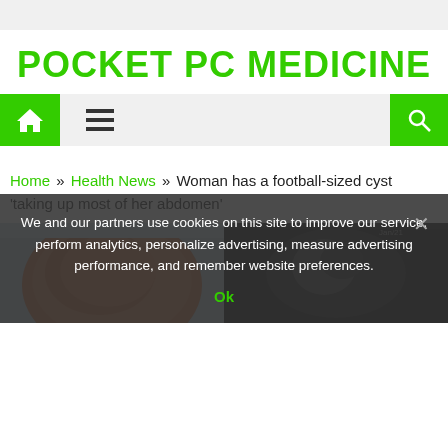POCKET PC MEDICINE
Home icon | Menu icon | Search icon
Home » Health News » Woman has a football-sized cyst 'taking up most of her abdomen'
[Figure (photo): Two side-by-side medical images: left shows a large orange/brown rounded mass (the cyst), right shows a dark medical scan image]
We and our partners use cookies on this site to improve our service, perform analytics, personalize advertising, measure advertising performance, and remember website preferences.
Ok